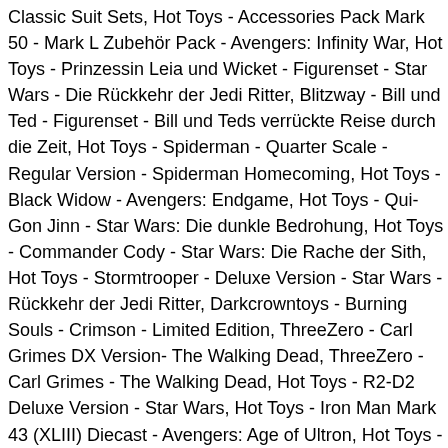Classic Suit Sets, Hot Toys - Accessories Pack Mark 50 - Mark L Zubehör Pack - Avengers: Infinity War, Hot Toys - Prinzessin Leia und Wicket - Figurenset - Star Wars - Die Rückkehr der Jedi Ritter, Blitzway - Bill und Ted - Figurenset - Bill und Teds verrückte Reise durch die Zeit, Hot Toys - Spiderman - Quarter Scale - Regular Version - Spiderman Homecoming, Hot Toys - Black Widow - Avengers: Endgame, Hot Toys - Qui-Gon Jinn - Star Wars: Die dunkle Bedrohung, Hot Toys - Commander Cody - Star Wars: Die Rache der Sith, Hot Toys - Stormtrooper - Deluxe Version - Star Wars - Rückkehr der Jedi Ritter, Darkcrowntoys - Burning Souls - Crimson - Limited Edition, ThreeZero - Carl Grimes DX Version- The Walking Dead, ThreeZero - Carl Grimes - The Walking Dead, Hot Toys - R2-D2 Deluxe Version - Star Wars, Hot Toys - Iron Man Mark 43 (XLIII) Diecast - Avengers: Age of Ultron, Hot Toys - Iron Man Mark VII Diecast - The Avengers, Big Chief Studios - Solitaire - James Bond - Live and let die. Hot Toys 1/4 DC The Dark Knight Batman QS010 The Joker 48CM 5.0 out of 5 stars 2. Figure is in perfect condition,has been kept in a museum pose since owned,comes with all his accessories which